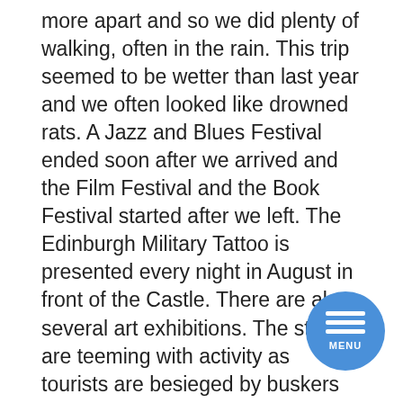more apart and so we did plenty of walking, often in the rain. This trip seemed to be wetter than last year and we often looked like drowned rats. A Jazz and Blues Festival ended soon after we arrived and the Film Festival and the Book Festival started after we left. The Edinburgh Military Tattoo is presented every night in August in front of the Castle. There are also several art exhibitions. The streets are teeming with activity as tourists are besieged by buskers of every sort, craft stalls and desperate actors handing out leaflets advertising their shows. It is very difficult to select what to see. There are several programme brochures backed up by websites and forests of leaflets. A few words might catch your fancy or a testimonial from someone well known or you get a recommendation from someone in a show queue. As the Festival progresses, reviews start appearing on the Fringe Festival website. We aim to go to four or five shows a day and accept that some will be duds. So